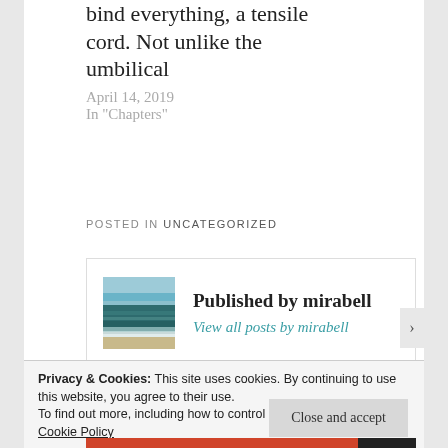bind everything, a tensile cord. Not unlike the umbilical
April 14, 2019
In "Chapters"
POSTED IN UNCATEGORIZED
[Figure (photo): Ocean/beach photo used as author avatar for mirabell]
Published by mirabell
View all posts by mirabell
Privacy & Cookies: This site uses cookies. By continuing to use this website, you agree to their use.
To find out more, including how to control cookies, see here: Cookie Policy
Close and accept